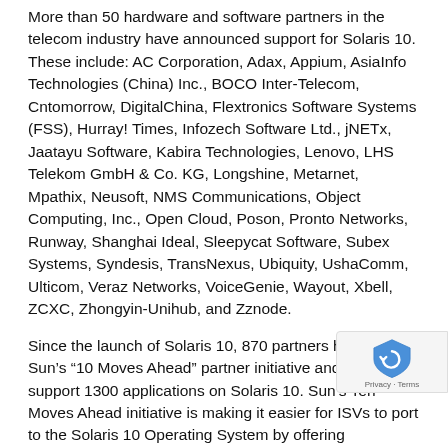More than 50 hardware and software partners in the telecom industry have announced support for Solaris 10. These include: AC Corporation, Adax, Appium, AsiaInfo Technologies (China) Inc., BOCO Inter-Telecom, Cntomorrow, DigitalChina, Flextronics Software Systems (FSS), Hurray! Times, Infozech Software Ltd., jNETx, Jaatayu Software, Kabira Technologies, Lenovo, LHS Telekom GmbH & Co. KG, Longshine, Metarnet, Mpathix, Neusoft, NMS Communications, Object Computing, Inc., Open Cloud, Poson, Pronto Networks, Runway, Shanghai Ideal, Sleepycat Software, Subex Systems, Syndesis, TransNexus, Ubiquity, UshaComm, Ulticom, Veraz Networks, VoiceGenie, Wayout, Xbell, ZCXC, Zhongyin-Unihub, and Zznode.
Since the launch of Solaris 10, 870 partners have joined Sun's “10 Moves Ahead” partner initiative and will support 1300 applications on Solaris 10. Sun’s Ten Moves Ahead initiative is making it easier for ISVs to port to the Solaris 10 Operating System by offering technology, marketing and co-selling benefits. Details on the Net: http://sun.com/partners/10moves.
“Sun is a leader in the carrier-grade telecommunications infrastructure equipment due to its outstanding reputation for